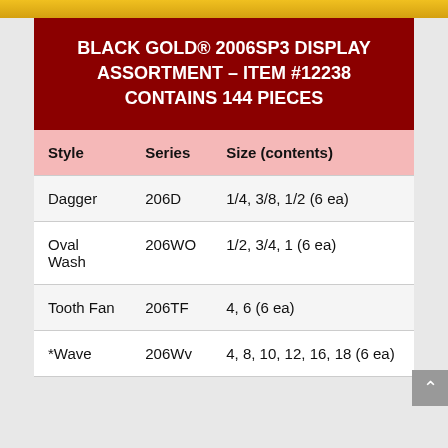BLACK GOLD® 2006SP3 DISPLAY ASSORTMENT – ITEM #12238 CONTAINS 144 PIECES
| Style | Series | Size (contents) |
| --- | --- | --- |
| Dagger | 206D | 1/4, 3/8, 1/2 (6 ea) |
| Oval Wash | 206WO | 1/2, 3/4, 1 (6 ea) |
| Tooth Fan | 206TF | 4, 6 (6 ea) |
| *Wave | 206Wv | 4, 8, 10, 12, 16, 18 (6 ea) |